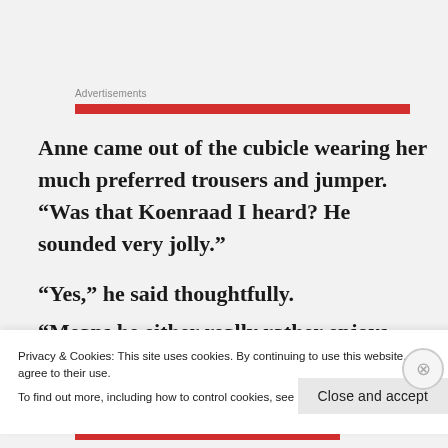Advertisements
Anne came out of the cubicle wearing her much preferred trousers and jumper. “Was that Koenraad I heard? He sounded very jolly.”
“Yes,” he said thoughtfully.
“Means he either really rather enjoys hurting
Privacy & Cookies: This site uses cookies. By continuing to use this website, you agree to their use.
To find out more, including how to control cookies, see here: Cookie Policy
Close and accept